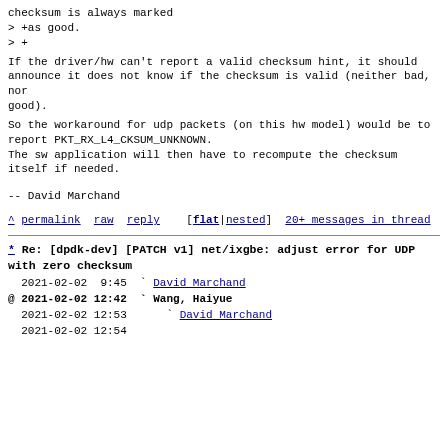checksum is always marked
> +as good.
> +
If the driver/hw can't report a valid checksum hint, it should
announce it does not know if the checksum is valid (neither bad, nor
good).
So the workaround for udp packets (on this hw model) would be to
report PKT_RX_L4_CKSUM_UNKNOWN.
The sw application will then have to recompute the checksum itself if needed.
--
David Marchand
^ permalink  raw  reply    [flat|nested]  20+ messages in thread
* Re: [dpdk-dev] [PATCH v1] net/ixgbe: adjust error for UDP with zero checksum
2021-02-02  9:45  ` David Marchand
@ 2021-02-02 12:42    ` Wang, Haiyue
  2021-02-02 12:53      ` David Marchand
  2021-02-02 12:54      ` Wang, Haiyue